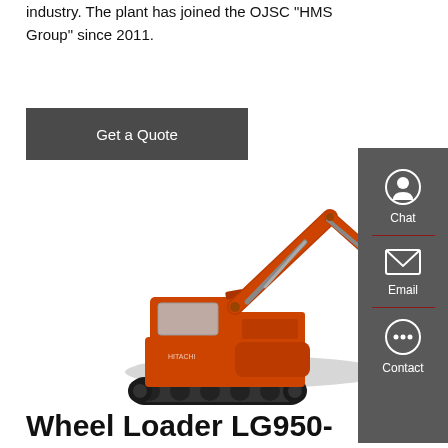industry. The plant has joined the OJSC "HMS Group" since 2011.
Get a Quote
[Figure (photo): Orange tracked excavator/crawler excavator with black bucket raised, photographed on white background.]
Wheel Loader LG950-